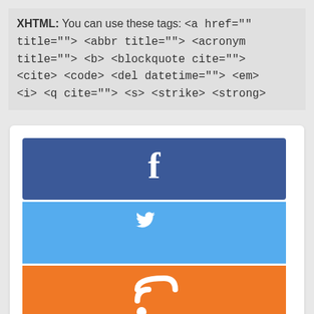XHTML: You can use these tags: <a href="" title=""> <abbr title=""> <acronym title=""> <b> <blockquote cite=""> <cite> <code> <del datetime=""> <em> <i> <q cite=""> <s> <strike> <strong>
[Figure (infographic): Social media share widget with three buttons: Facebook (dark blue with 'f' icon), Twitter (light blue with bird icon), RSS (orange with RSS icon)]